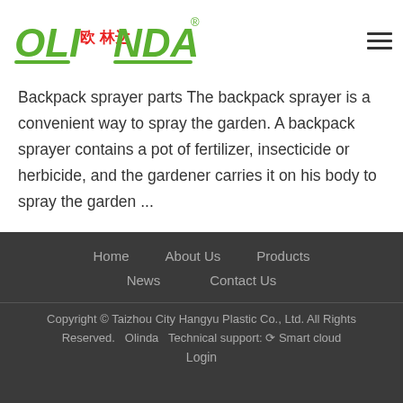[Figure (logo): Olinda brand logo with green italic text 'OLINDA' and red Chinese characters, with registered trademark symbol]
Backpack sprayer parts The backpack sprayer is a convenient way to spray the garden. A backpack sprayer contains a pot of fertilizer, insecticide or herbicide, and the gardener carries it on his body to spray the garden ...
Home  About Us  Products  News  Contact Us  Copyright © Taizhou City Hangyu Plastic Co., Ltd. All Rights Reserved.  Olinda  Technical support: Smart cloud  Login